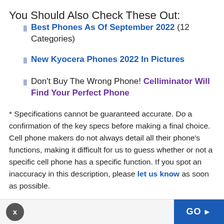You Should Also Check These Out:
Best Phones As Of September 2022 (12 Categories)
New Kyocera Phones 2022 In Pictures
Don't Buy The Wrong Phone! Celliminator Will Find Your Perfect Phone
* Specifications cannot be guaranteed accurate. Do a confirmation of the key specs before making a final choice. Cell phone makers do not always detail all their phone's functions, making it difficult for us to guess whether or not a specific cell phone has a specific function. If you spot an inaccuracy in this description, please let us know as soon as possible.